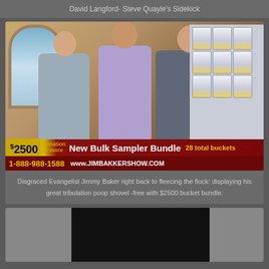David Langford- Steve Quayle's Sidekick
[Figure (screenshot): TV screenshot from the Jim Bakker Show displaying three men standing in front of stacked white/yellow buckets and milk jugs. A banner reads: $2500 New Bulk Sampler Bundle 28 total buckets, 1-888-988-1588, www.JIMBAKKERSHOW.COM]
Disgraced Evangelist Jimmy Baker right back to fleecing the flock: displaying his great tribulation poop shovel -free with $2500 bucket bundle.
[Figure (screenshot): Partial view of another video thumbnail with dark center panel and gray side panels.]